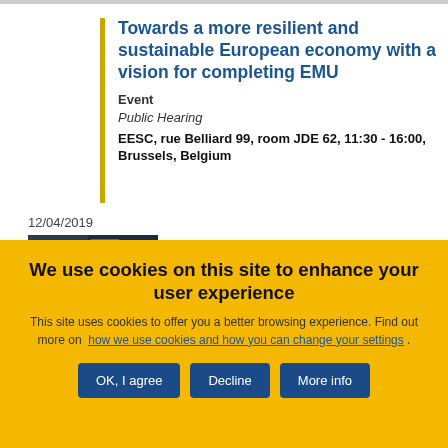Towards a more resilient and sustainable European economy with a vision for completing EMU
Event
Public Hearing
EESC, rue Belliard 99, room JDE 62, 11:30 - 16:00, Brussels, Belgium
12/04/2019
[Figure (photo): Thumbnail image of the event]
We use cookies on this site to enhance your user experience
This site uses cookies to offer you a better browsing experience. Find out more on how we use cookies and how you can change your settings .
OK, I agree | Decline | More info